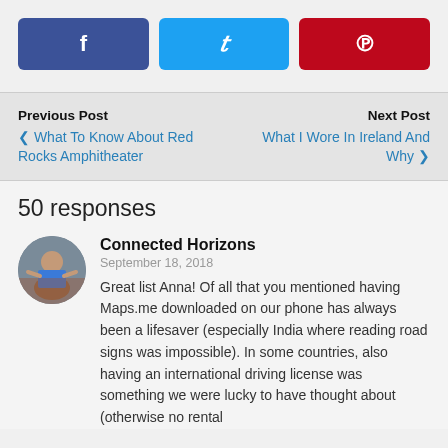[Figure (other): Social share buttons: Facebook (blue), Twitter (light blue), Pinterest (red), each with respective icons]
Previous Post
‹ What To Know About Red Rocks Amphitheater
Next Post
What I Wore In Ireland And Why ›
50 responses
[Figure (photo): Circular avatar photo of Connected Horizons commenter — person with arms outstretched outdoors]
Connected Horizons
September 18, 2018
Great list Anna! Of all that you mentioned having Maps.me downloaded on our phone has always been a lifesaver (especially India where reading road signs was impossible). In some countries, also having an international driving license was something we were lucky to have thought about (otherwise no rental